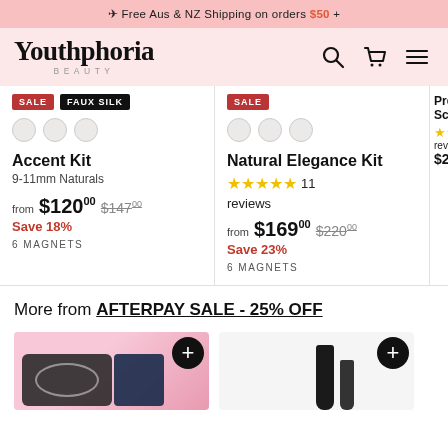✈ Free Aus & NZ Shipping on orders $50 +
[Figure (logo): Youthphoria Beauty logo with search, cart, and menu icons]
SALE | FAUX SILK
SALE
Accent Kit
9-11mm Naturals
from $120.00  $147.00
Save 18%
6 MAGNETS
Natural Elegance Kit
★★★★★ 11 reviews
from $169.00  $220.00
Save 23%
6 MAGNETS
Premi... Scisso...
★★ reviews
$29.00
More from AFTERPAY SALE - 25% OFF
[Figure (photo): Product image with pink background showing lash/beauty product]
[Figure (photo): Product image showing mascara or beauty product on white background]